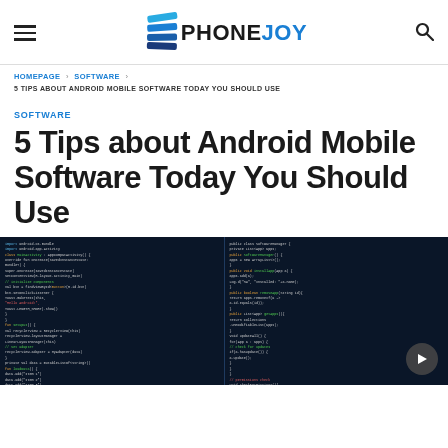PHONEJOY
HOMEPAGE > SOFTWARE > 5 TIPS ABOUT ANDROID MOBILE SOFTWARE TODAY YOU SHOULD USE
SOFTWARE
5 Tips about Android Mobile Software Today You Should Use
[Figure (photo): Two computer monitors side by side displaying colorful code on a dark background]